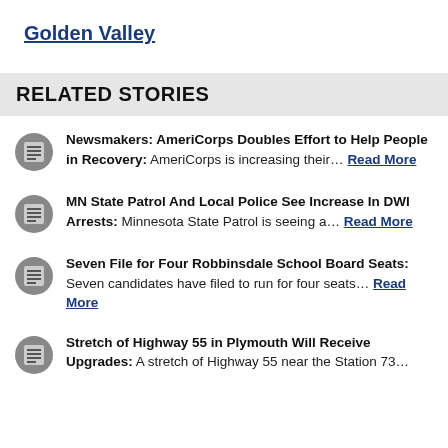Golden Valley
RELATED STORIES
Newsmakers: AmeriCorps Doubles Effort to Help People in Recovery: AmeriCorps is increasing their… Read More
MN State Patrol And Local Police See Increase In DWI Arrests: Minnesota State Patrol is seeing a… Read More
Seven File for Four Robbinsdale School Board Seats: Seven candidates have filed to run for four seats… Read More
Stretch of Highway 55 in Plymouth Will Receive Upgrades: A stretch of Highway 55 near the Station 73…